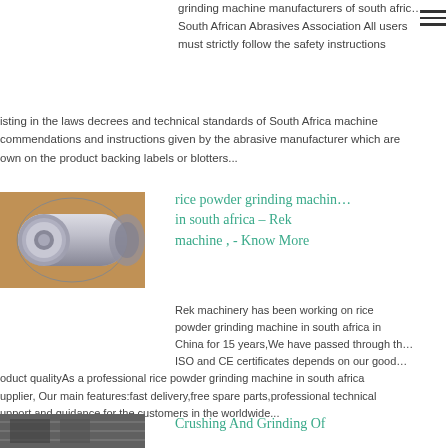grinding machine manufacturers of south afric... South African Abrasives Association All users must strictly follow the safety instructions
isting in the laws decrees and technical standards of South Africa machine commendations and instructions given by the abrasive manufacturer which are own on the product backing labels or blotters...
[Figure (photo): Metal cylinder/drum component, likely a grinding machine part]
rice powder grinding machine in south africa – Rek machine , - Know More
Rek machinery has been working on rice powder grinding machine in south africa in China for 15 years,We have passed through the ISO and CE certificates depends on our good product qualityAs a professional rice powder grinding machine in south africa supplier, Our main features:fast delivery,free spare parts,professional technical support and guidance for the customers in the worldwide...
[Figure (photo): Small thumbnail image for Crushing And Grinding Of section]
Crushing And Grinding Of